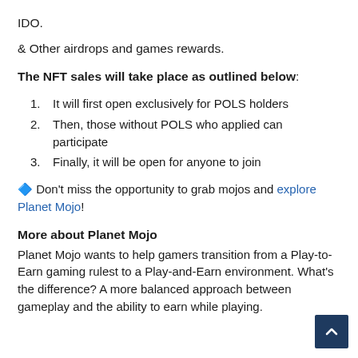IDO.
& Other airdrops and games rewards.
The NFT sales will take place as outlined below:
It will first open exclusively for POLS holders
Then, those without POLS who applied can participate
Finally, it will be open for anyone to join
🔷 Don't miss the opportunity to grab mojos and explore Planet Mojo!
More about Planet Mojo
Planet Mojo wants to help gamers transition from a Play-to-Earn gaming rulest to a Play-and-Earn environment. What's the difference? A more balanced approach between gameplay and the ability to earn while playing.